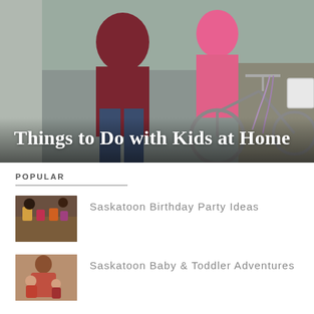[Figure (photo): Adult in red hoodie helping a young child in pink hoodie ride a purple bicycle on a sidewalk outdoors. White basket on bike front. Text overlay reads 'Things to Do with Kids at Home'.]
Things to Do with Kids at Home
POPULAR
[Figure (photo): Children gathered around a table with birthday party decorations and food.]
Saskatoon Birthday Party Ideas
[Figure (photo): Woman holding two babies or toddlers, smiling.]
Saskatoon Baby & Toddler Adventures